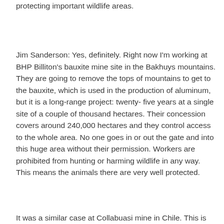protecting important wildlife areas.
Jim Sanderson: Yes, definitely. Right now I'm working at BHP Billiton's bauxite mine site in the Bakhuys mountains. They are going to remove the tops of mountains to get to the bauxite, which is used in the production of aluminum, but it is a long-range project: twenty- five years at a single site of a couple of thousand hectares. Their concession covers around 240,000 hectares and they control access to the whole area. No one goes in or out the gate and into this huge area without their permission. Workers are prohibited from hunting or harming wildlife in any way. This means the animals there are very well protected.
It was a similar case at Collabuasi mine in Chile. This is